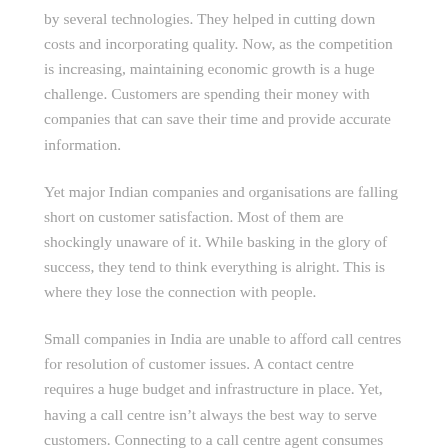by several technologies. They helped in cutting down costs and incorporating quality. Now, as the competition is increasing, maintaining economic growth is a huge challenge. Customers are spending their money with companies that can save their time and provide accurate information.
Yet major Indian companies and organisations are falling short on customer satisfaction. Most of them are shockingly unaware of it. While basking in the glory of success, they tend to think everything is alright. This is where they lose the connection with people.
Small companies in India are unable to afford call centres for resolution of customer issues. A contact centre requires a huge budget and infrastructure in place. Yet, having a call centre isn't always the best way to serve customers. Connecting to a call centre agent consumes customers' time. One needs to go through